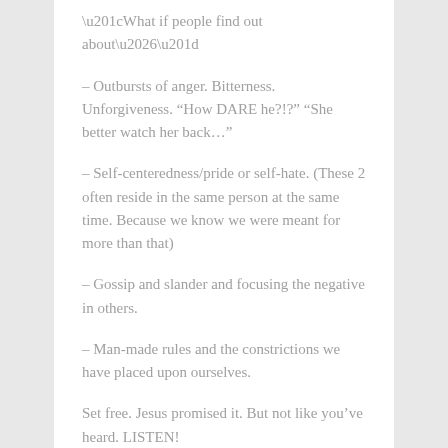“What if people find out about…”
– Outbursts of anger. Bitterness. Unforgiveness. “How DARE he?!?” “She better watch her back…”
– Self-centeredness/pride or self-hate. (These 2 often reside in the same person at the same time. Because we know we were meant for more than that)
– Gossip and slander and focusing the negative in others.
– Man-made rules and the constrictions we have placed upon ourselves.
Set free. Jesus promised it. But not like you’ve heard. LISTEN!